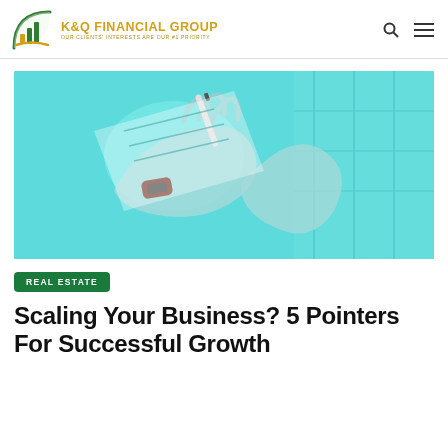K&Q FINANCIAL GROUP — OUR CLIENTS' INTERESTS ARE OUR #1 PRIORITY
[Figure (photo): Two people giving a high five, hands close-up with a marker/pen visible, image has a cyan/teal color overlay, office or windowed background]
REAL ESTATE
Scaling Your Business? 5 Pointers For Successful Growth